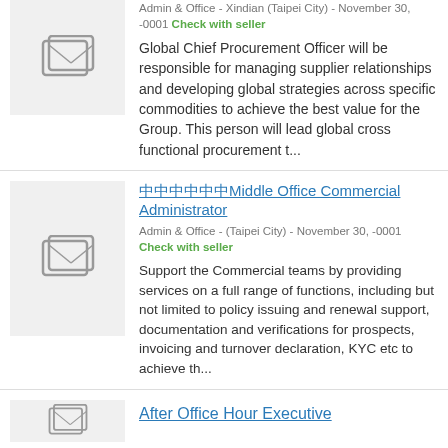Admin & Office - Xindian (Taipei City) - November 30, -0001 Check with seller
Global Chief Procurement Officer will be responsible for managing supplier relationships and developing global strategies across specific commodities to achieve the best value for the Group. This person will lead global cross functional procurement t...
中中中中中中Middle Office Commercial Administrator
Admin & Office - (Taipei City) - November 30, -0001 Check with seller
Support the Commercial teams by providing services on a full range of functions, including but not limited to policy issuing and renewal support, documentation and verifications for prospects, invoicing and turnover declaration, KYC etc to achieve th...
After Office Hour Executive